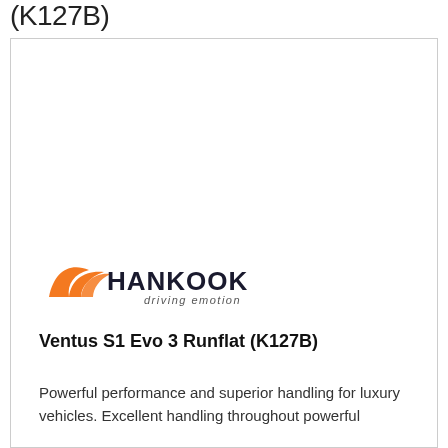(K127B)
[Figure (logo): Hankook driving emotion logo with orange wing mark and dark text]
Ventus S1 Evo 3 Runflat (K127B)
Powerful performance and superior handling for luxury vehicles. Excellent handling throughout powerful